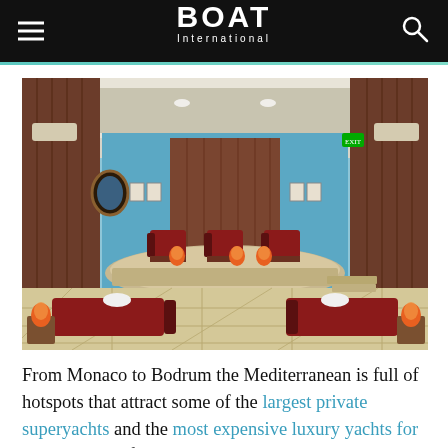BOAT International
[Figure (photo): Interior of a luxury spa relaxation room with red loungers, a central raised platform with red chairs and glowing orange salt lamps, blue walls with wood paneling, ornate mirror, and marble tile floor.]
From Monaco to Bodrum the Mediterranean is full of hotspots that attract some of the largest private superyachts and the most expensive luxury yachts for charter. Thankfully the Mediterranean is also home to